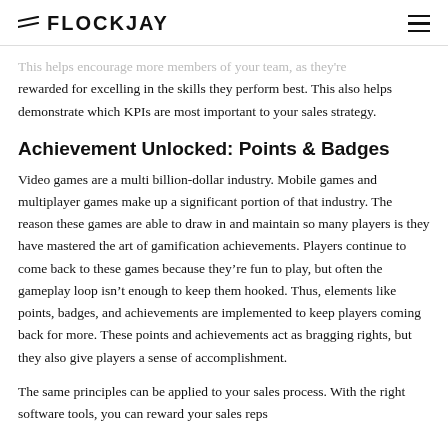FLOCKJAY
This helps encourage more members of your team, as they're rewarded for excelling in the skills they perform best. This also helps demonstrate which KPIs are most important to your sales strategy.
Achievement Unlocked: Points & Badges
Video games are a multi billion-dollar industry. Mobile games and multiplayer games make up a significant portion of that industry. The reason these games are able to draw in and maintain so many players is they have mastered the art of gamification achievements. Players continue to come back to these games because they're fun to play, but often the gameplay loop isn't enough to keep them hooked. Thus, elements like points, badges, and achievements are implemented to keep players coming back for more. These points and achievements act as bragging rights, but they also give players a sense of accomplishment.
The same principles can be applied to your sales process. With the right software tools, you can reward your sales reps